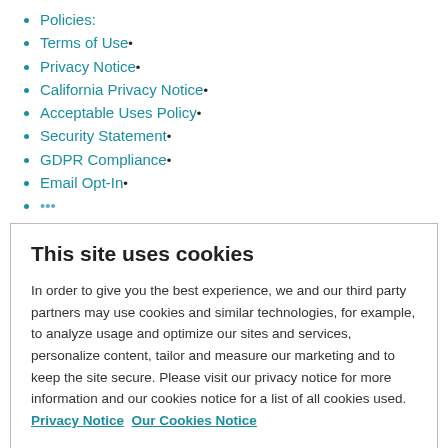Policies:
Terms of Use•
Privacy Notice•
California Privacy Notice•
Acceptable Uses Policy•
Security Statement•
GDPR Compliance•
Email Opt-In•
This site uses cookies
In order to give you the best experience, we and our third party partners may use cookies and similar technologies, for example, to analyze usage and optimize our sites and services, personalize content, tailor and measure our marketing and to keep the site secure. Please visit our privacy notice for more information and our cookies notice for a list of all cookies used.  Privacy Notice  Our Cookies Notice